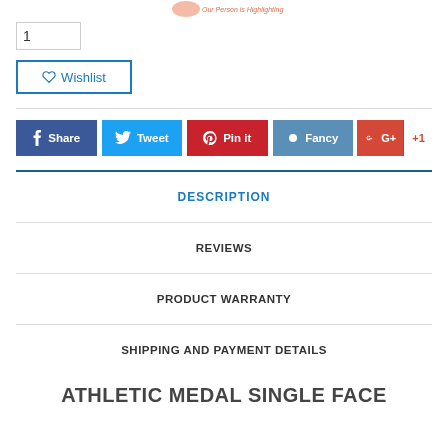[Figure (logo): Website logo with tagline text at top]
1
♡ Wishlist
[Figure (other): Social share buttons: Share (Facebook), Tweet (Twitter), Pin it (Pinterest), Fancy, G+ +1]
DESCRIPTION
REVIEWS
PRODUCT WARRANTY
SHIPPING AND PAYMENT DETAILS
ATHLETIC MEDAL SINGLE FACE